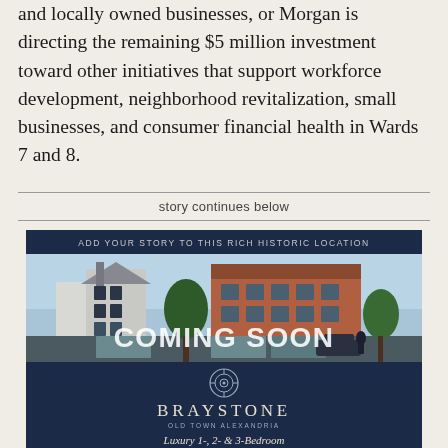and locally owned businesses, or Morgan is directing the remaining $5 million investment toward other initiatives that support workforce development, neighborhood revitalization, small businesses, and consumer financial health in Wards 7 and 8.
story continues below
[Figure (illustration): Advertisement for Braystone Old Town Alexandria luxury condominiums. Dark navy header reads 'ADD YOUR STORY TO THIS RICH HISTORIC LOCATION'. Below is a photo of a mixed-use building development with modern and historic architecture. Large 'COMING SOON' text overlaid on the photo. Below the photo on a navy background: Braystone logo with decorative emblem, 'OLD TOWN ALEXANDRIA' subtitle, and text 'Luxury 1-, 2- & 3-Bedroom Condominiums Perfect...' (cut off).]